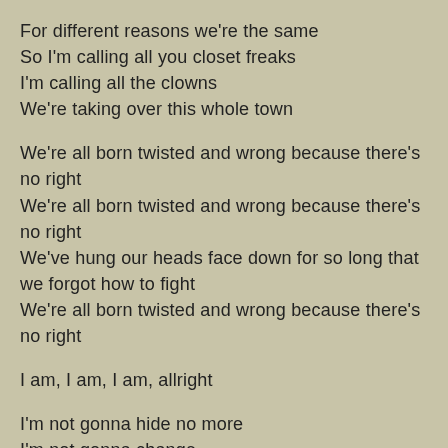For different reasons we're the same
So I'm calling all you closet freaks
I'm calling all the clowns
We're taking over this whole town
We're all born twisted and wrong because there's no right
We're all born twisted and wrong because there's no right
We've hung our heads face down for so long that we forgot how to fight
We're all born twisted and wrong because there's no right
I am, I am, I am, allright
I'm not gonna hide no more
I'm not gonna change
Something no more no more...